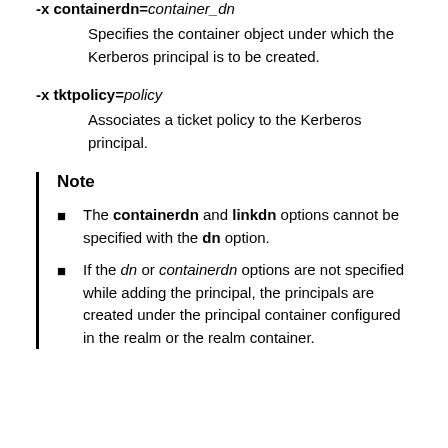-x containerdn=container_dn
Specifies the container object under which the Kerberos principal is to be created.
-x tktpolicy=policy
Associates a ticket policy to the Kerberos principal.
Note
The containerdn and linkdn options cannot be specified with the dn option.
If the dn or containerdn options are not specified while adding the principal, the principals are created under the principal container configured in the realm or the realm container.